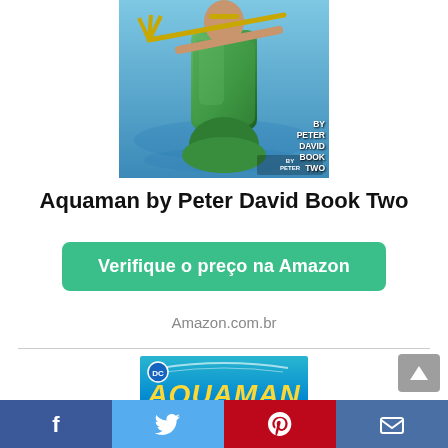[Figure (illustration): Book cover of Aquaman by Peter David Book Two showing Aquaman character in green scale suit with trident, blue water background, with text 'BY PETER DAVID BOOK TWO']
Aquaman by Peter David Book Two
Verifique o preço na Amazon
Amazon.com.br
[Figure (illustration): Book cover of Aquaman: The Atlantis Chronicles Deluxe Edition with DC logo, teal/blue background, yellow title text, sun and skull imagery at bottom]
Facebook  Twitter  Pinterest  Email